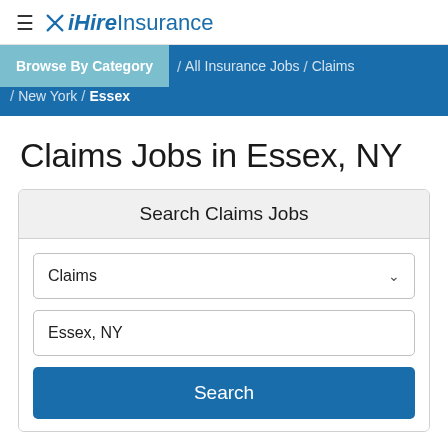iHireInsurance
Browse By Category / All Insurance Jobs / Claims / New York / Essex
Claims Jobs in Essex, NY
Search Claims Jobs
Claims (dropdown)
Essex, NY (input)
Search (button)
1-12 of 12 Jobs